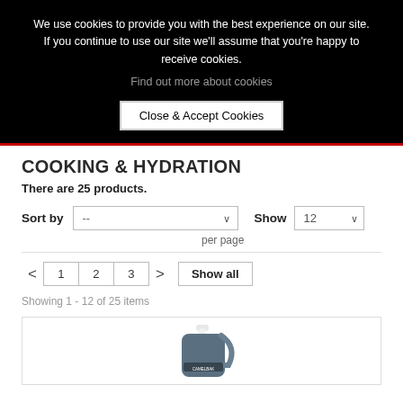We use cookies to provide you with the best experience on our site. If you continue to use our site we'll assume that you're happy to receive cookies.
Find out more about cookies
Close & Accept Cookies
COOKING & HYDRATION
There are 25 products.
Sort by  --   Show  12  per page
< 1 2 3 > Show all
Showing 1 - 12 of 25 items
[Figure (photo): CamelBak water bottle, grey/dark color with white drinking nozzle, partially visible at bottom of page]